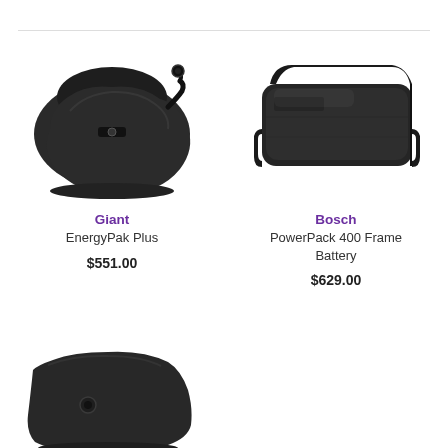[Figure (photo): Black Giant EnergyPak Plus e-bike battery with cable connector, angled view]
Giant
EnergyPak Plus
$551.00
[Figure (photo): Black Bosch PowerPack 400 Frame Battery, rectangular shape with curved edges]
Bosch
PowerPack 400 Frame Battery
$629.00
[Figure (photo): Black e-bike battery partially visible at the bottom of the page]